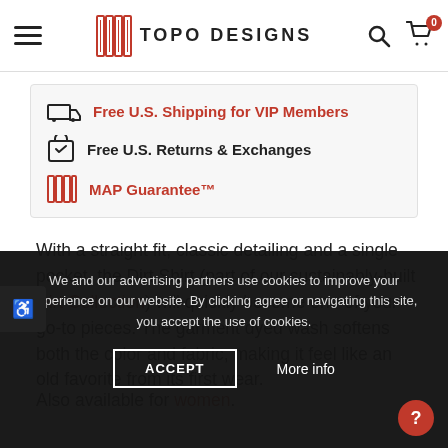TOPO DESIGNS
Free U.S. Shipping for VIP Members
Free U.S. Returns & Exchanges
MAP Guarantee™
With a straight fit, classic detailing and a single pocket, the Dirt Shirt (part of our sustainably-built Dirt Collection) will quickly become one of your go-to pieces. The garment dyed wash softens both the color and fabric, making it feel like an old favorite from its first wear.
Also available for women.
We and our advertising partners use cookies to improve your experience on our website. By clicking agree or navigating this site, you accept the use of cookies.